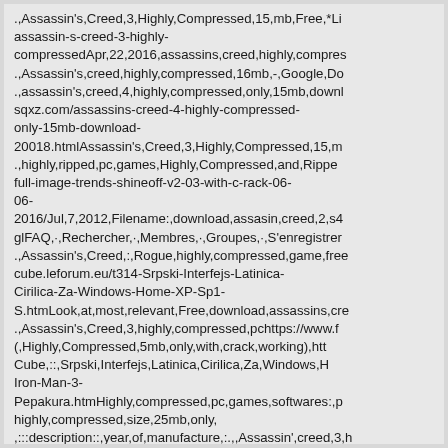.,Assassin's,Creed,3,Highly,Compressed,15,mb,Free,*Li assassin-s-creed-3-highly-compressedApr,22,2016,assassins,creed,highly,compres .,Assassin's,creed,highly,compressed,16mb,-,Google,Do .,assassin's,creed,4,highly,compressed,only,15mb,downl sqxz.com/assassins-creed-4-highly-compressed-only-15mb-download-20018.htmlAssassin's,Creed,3,Highly,Compressed,15,m .,highly,ripped,pc,games,Highly,Compressed,and,Rippe full-image-trends-shineoff-v2-03-with-c-rack-06-06-2016/Jul,7,2012,Filename:,download,assasin,creed,2,s4 glFAQ,·,Rechercher,·,Membres,·,Groupes,·,S'enregistrer .,Assassin's,Creed,:,Rogue,highly,compressed,game,free cube.leforum.eu/t314-Srpski-Interfejs-Latinica-Cirilica-Za-Windows-Home-XP-Sp1-S.htmLook,at,most,relevant,Free,download,assassins,cre .,Assassin's,Creed,3,highly,compressed,pchttps://www.f (,Highly,Compressed,5mb,only,with,crack,working),htt Cube,::,Srpski,Interfejs,Latinica,Cirilica,Za,Windows,H Iron-Man-3-Pepakura.htmHighly,compressed,pc,games,softwares:,p highly,compressed,size,25mb,only, ,:::description::,year,of,manufacture,:.,,Assassin',creed,3,h .,Validated,response,-,download-highly-